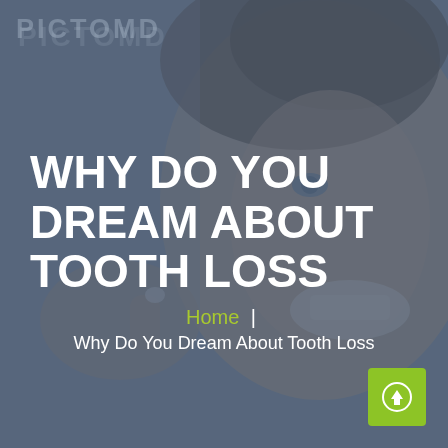[Figure (photo): Close-up of a smiling young man holding a small white tooth between his fingers, background blurred, with a blue-grey color overlay. Watermark text 'PICTOMD' visible at top left.]
WHY DO YOU DREAM ABOUT TOOTH LOSS
Home  |  Why Do You Dream About Tooth Loss